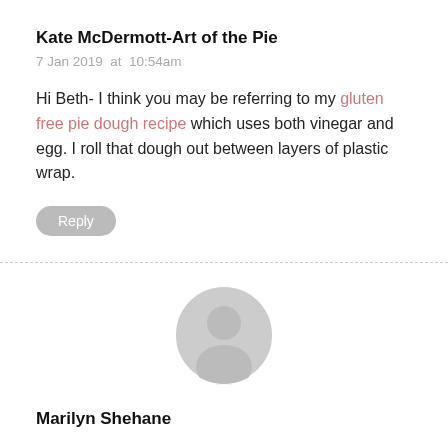Kate McDermott-Art of the Pie
7 Jan 2019  at  10:54am
Hi Beth- I think you may be referring to my gluten free pie dough recipe which uses both vinegar and egg. I roll that dough out between layers of plastic wrap.
Reply
[Figure (illustration): Generic user avatar icon: a circular grey silhouette of a person]
Marilyn Shehane